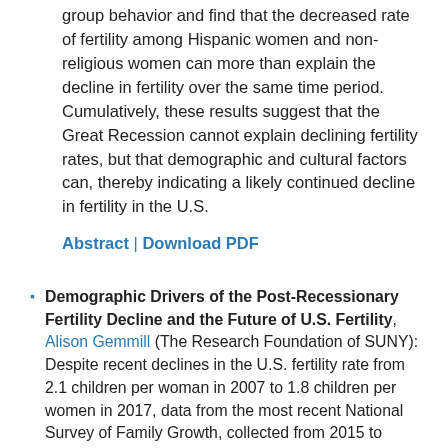group behavior and find that the decreased rate of fertility among Hispanic women and non-religious women can more than explain the decline in fertility over the same time period. Cumulatively, these results suggest that the Great Recession cannot explain declining fertility rates, but that demographic and cultural factors can, thereby indicating a likely continued decline in fertility in the U.S.
Abstract | Download PDF
Demographic Drivers of the Post-Recessionary Fertility Decline and the Future of U.S. Fertility, Alison Gemmill (The Research Foundation of SUNY): Despite recent declines in the U.S. fertility rate from 2.1 children per woman in 2007 to 1.8 children per women in 2017, data from the most recent National Survey of Family Growth, collected from 2015 to 2017, reveal that the number of children women